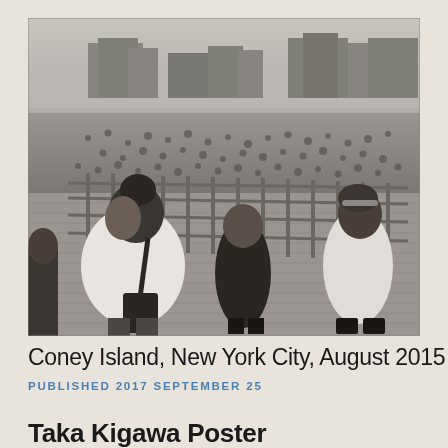[Figure (photo): Black and white photograph of three people walking on a boardwalk at Coney Island. A crowded beach is visible in the background with tall apartment buildings on the horizon. In the foreground, a young woman with a bun hairstyle wearing a white t-shirt and carrying a bag walks to the left. A child in a black patterned outfit walks in the center, and a teenage girl in a white t-shirt with text walks on the right. Metal railings line the boardwalk.]
Coney Island, New York City, August 2015
PUBLISHED 2017 SEPTEMBER 25
Taka Kigawa Poster